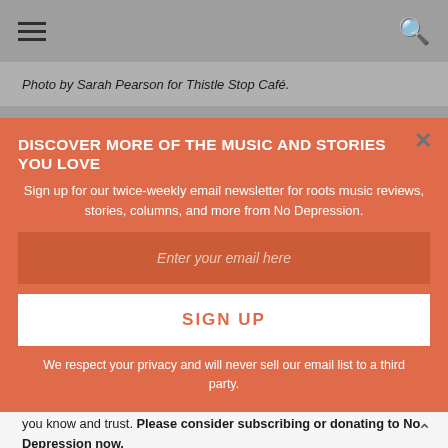☰  🔍
Photo by Sarah Pearson for Thistle Stop Café.
DISCOVER MORE OF THE MUSIC AND STORIES YOU LOVE
Sign up for our twice-weekly email newsletter for roots music reviews, stories, columns, and more from No Depression.
Enter your email here
SIGN UP
We respect your privacy and will never sell our email list to a third party.
so that we can continue bringing you the independent music journalism you know and trust. Please consider subscribing or donating to No Depression now.